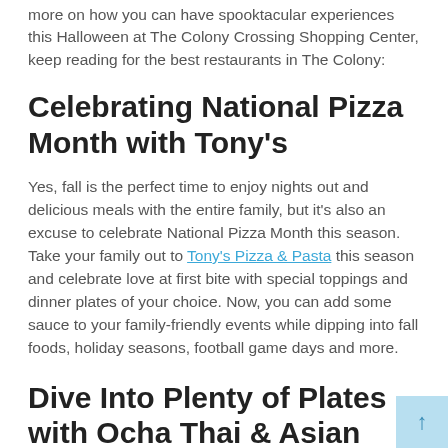more on how you can have spooktacular experiences this Halloween at The Colony Crossing Shopping Center, keep reading for the best restaurants in The Colony:
Celebrating National Pizza Month with Tony's
Yes, fall is the perfect time to enjoy nights out and delicious meals with the entire family, but it's also an excuse to celebrate National Pizza Month this season. Take your family out to Tony's Pizza & Pasta this season and celebrate love at first bite with special toppings and dinner plates of your choice. Now, you can add some sauce to your family-friendly events while dipping into fall foods, holiday seasons, football game days and more.
Dive Into Plenty of Plates with Ocha Thai & Asian Fusion